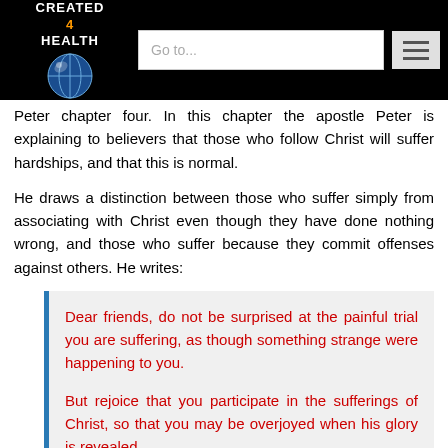CREATED 4 HEALTH — navigation header with logo and Go to... search bar
Peter chapter four. In this chapter the apostle Peter is explaining to believers that those who follow Christ will suffer hardships, and that this is normal.
He draws a distinction between those who suffer simply from associating with Christ even though they have done nothing wrong, and those who suffer because they commit offenses against others. He writes:
Dear friends, do not be surprised at the painful trial you are suffering, as though something strange were happening to you.
But rejoice that you participate in the sufferings of Christ, so that you may be overjoyed when his glory is revealed.
If you are insulted because of the name of